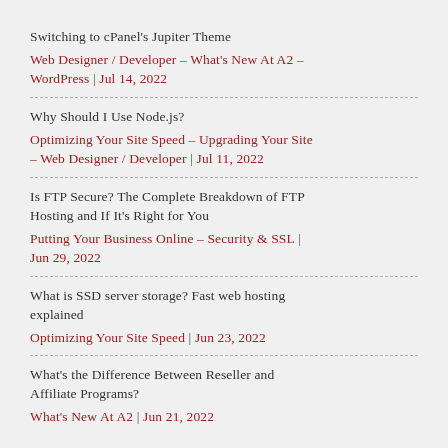Switching to cPanel's Jupiter Theme
Web Designer / Developer – What's New At A2 – WordPress | Jul 14, 2022
Why Should I Use Node.js?
Optimizing Your Site Speed – Upgrading Your Site – Web Designer / Developer | Jul 11, 2022
Is FTP Secure? The Complete Breakdown of FTP Hosting and If It's Right for You
Putting Your Business Online – Security & SSL | Jun 29, 2022
What is SSD server storage? Fast web hosting explained
Optimizing Your Site Speed | Jun 23, 2022
What's the Difference Between Reseller and Affiliate Programs?
What's New At A2 | Jun 21, 2022